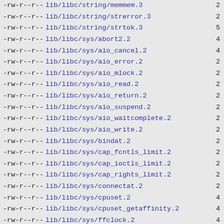-rw-r--r--  lib/libc/string/memmem.3  2
-rw-r--r--  lib/libc/string/strerror.3  2
-rw-r--r--  lib/libc/string/strtok.3  5
-rw-r--r--  lib/libc/sys/abort2.2  4
-rw-r--r--  lib/libc/sys/aio_cancel.2  4
-rw-r--r--  lib/libc/sys/aio_error.2  2
-rw-r--r--  lib/libc/sys/aio_mlock.2  2
-rw-r--r--  lib/libc/sys/aio_read.2  2
-rw-r--r--  lib/libc/sys/aio_return.2  2
-rw-r--r--  lib/libc/sys/aio_suspend.2  2
-rw-r--r--  lib/libc/sys/aio_waitcomplete.2  2
-rw-r--r--  lib/libc/sys/aio_write.2  2
-rw-r--r--  lib/libc/sys/bindat.2  2
-rw-r--r--  lib/libc/sys/cap_fcntls_limit.2  2
-rw-r--r--  lib/libc/sys/cap_ioctls_limit.2  2
-rw-r--r--  lib/libc/sys/cap_rights_limit.2  2
-rw-r--r--  lib/libc/sys/connectat.2  2
-rw-r--r--  lib/libc/sys/cpuset.2  4
-rw-r--r--  lib/libc/sys/cpuset_getaffinity.2  4
-rw-r--r--  lib/libc/sys/ffclock.2  4
-rw-r--r--  lib/libc/sys/kenv.2  4
-rw-r--r--  lib/libc/sys/kqueue.2  2
-rw-r--r--  lib/libc/sys/kse.2  10
-rw-r--r--  lib/libc/sys/pdfork.2  4